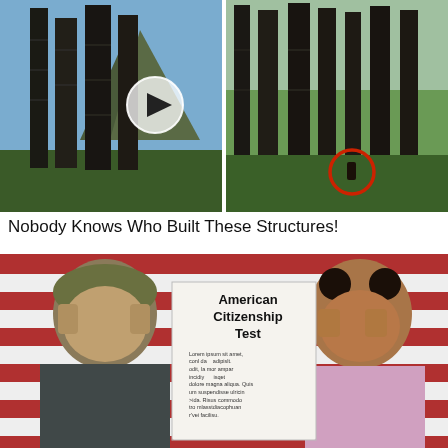[Figure (photo): Two side-by-side photos of tall ancient stone tower structures in a mountainous/hilly landscape. Left photo shows a video thumbnail with a play button icon. Right photo shows the same towers with a red circle highlighting a figure at the base.]
Nobody Knows Who Built These Structures!
[Figure (photo): Photo of two distressed people (man in olive beanie hat on left, woman with buns hairstyle on right) holding their heads in their hands in front of an American flag background. In the center is a paper document showing 'American Citizenship Test' with lorem ipsum placeholder text below.]